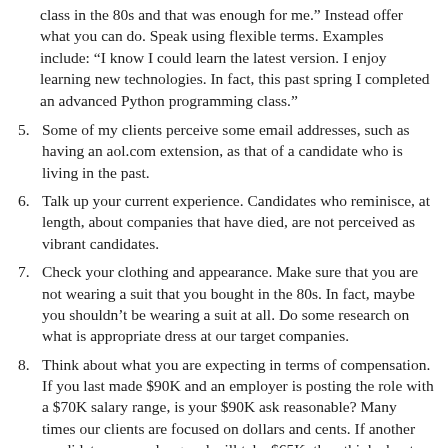class in the 80s and that was enough for me.”  Instead offer what you can do.  Speak using flexible terms.  Examples include: “I know I could learn the latest version.  I enjoy learning new technologies.  In fact, this past spring I completed an advanced Python programming class.”
5. Some of my clients perceive some email addresses, such as having an aol.com extension, as that of a candidate who is living in the past.
6. Talk up your current experience.  Candidates who reminisce, at length, about companies that have died, are not perceived as vibrant candidates.
7. Check your clothing and appearance.  Make sure that you are not wearing a suit that you bought in the 80s.  In fact, maybe you shouldn’t be wearing a suit at all.  Do some research on what is appropriate dress at our target companies.
8. Think about what you are expecting in terms of compensation.  If you last made $90K and an employer is posting the role with a $70K salary range, is your $90K ask reasonable?  Many times our clients are focused on dollars and cents.  If another candidate comes along and will take $65K, then think about your salary requirements.  I find